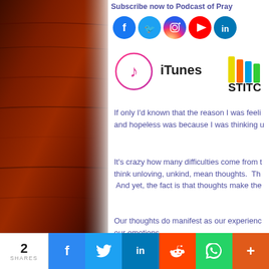Subscribe now to Podcast of Pray...
[Figure (infographic): Social media icons: Facebook, Twitter, Instagram, YouTube, LinkedIn circles, iTunes music note icon, Stitcher logo with colored bars]
If only I'd known that the reason I was feeling... and hopeless was because I was thinking u...
It's crazy how many difficulties come from t... think unloving, unkind, mean thoughts. The... And yet, the fact is that thoughts make the...
Our thoughts do manifest as our experience... our emotions.
Whenever our emotions are not to our liking... thinking fear based thoughts tha...
[Figure (illustration): Dark brown textured wood background on the left side panel]
2 SHARES | Facebook | Twitter | LinkedIn | Reddit | WhatsApp | More